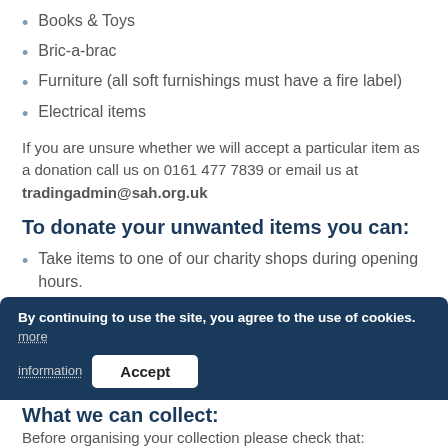Books & Toys
Bric-a-brac
Furniture (all soft furnishings must have a fire label)
Electrical items
If you are unsure whether we will accept a particular item as a donation call us on 0161 477 7839 or email us at tradingadmin@sah.org.uk
To donate your unwanted items you can:
Take items to one of our charity shops during opening hours.
Drop off your items at the donation stations at one of our hospice sites or warehouse.
Arrange a collection for furniture donations by calling 0161 222 8299
What we can collect:
Before organising your collection please check that: